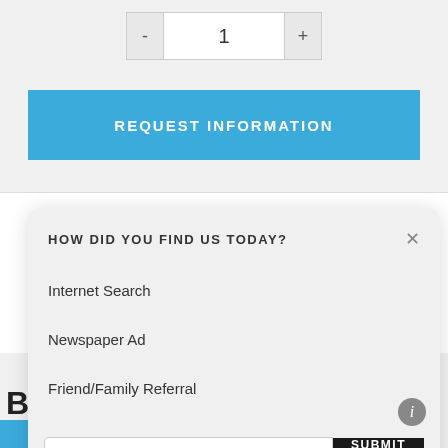[Figure (screenshot): Quantity selector with minus button, value '1', and plus button]
REQUEST INFORMATION
Share This Item
[Figure (screenshot): Social sharing icons row]
HOW DID YOU FIND US TODAY?
Internet Search
Newspaper Ad
Friend/Family Referral
Other (please specify)
SUBMIT